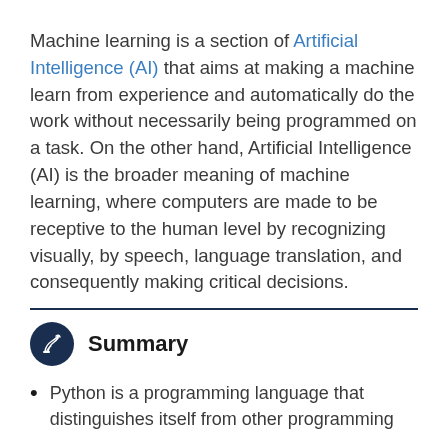Machine learning is a section of Artificial Intelligence (AI) that aims at making a machine learn from experience and automatically do the work without necessarily being programmed on a task. On the other hand, Artificial Intelligence (AI) is the broader meaning of machine learning, where computers are made to be receptive to the human level by recognizing visually, by speech, language translation, and consequently making critical decisions.
Summary
Python is a programming language that distinguishes itself from other programming